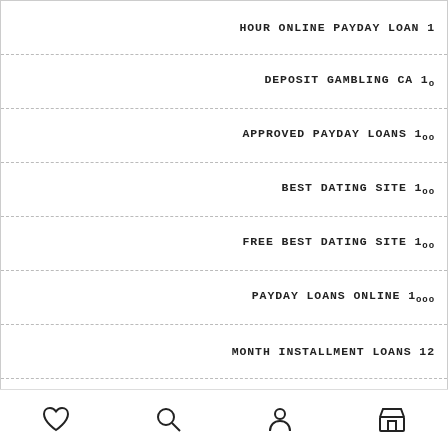HOUR ONLINE PAYDAY LOAN 1
DEPOSIT GAMBLING CA 10
APPROVED PAYDAY LOANS 100
BEST DATING SITE 100
FREE BEST DATING SITE 100
PAYDAY LOANS ONLINE 1000
MONTH INSTALLMENT LOANS 12
MONTH LOAN PAYDAY 12